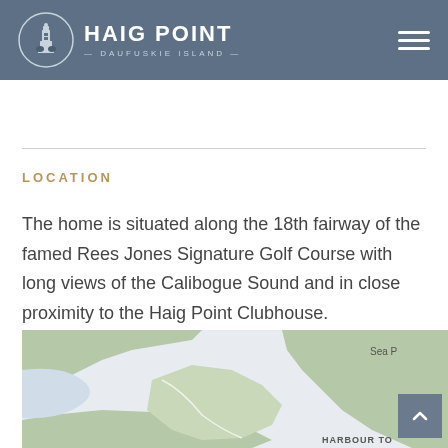HAIG POINT — DAUFUSKIE ISLAND
LOCATION
The home is situated along the 18th fairway of the famed Rees Jones Signature Golf Course with long views of the Calibogue Sound and in close proximity to the Haig Point Clubhouse.
[Figure (map): Partial map showing Daufuskie Island area with Sea Pines and Harbour Town labels visible, green land areas on a light background with waterways.]